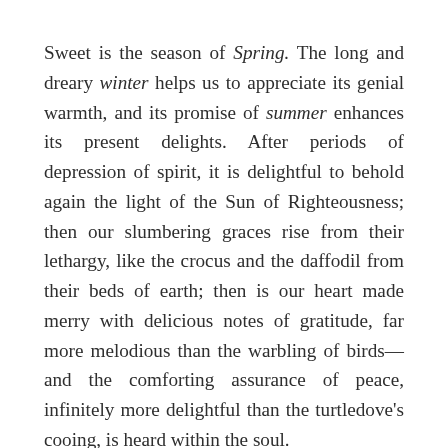Sweet is the season of Spring. The long and dreary winter helps us to appreciate its genial warmth, and its promise of summer enhances its present delights. After periods of depression of spirit, it is delightful to behold again the light of the Sun of Righteousness; then our slumbering graces rise from their lethargy, like the crocus and the daffodil from their beds of earth; then is our heart made merry with delicious notes of gratitude, far more melodious than the warbling of birds—and the comforting assurance of peace, infinitely more delightful than the turtledove's cooing, is heard within the soul.
Now is the time for the soul to seek